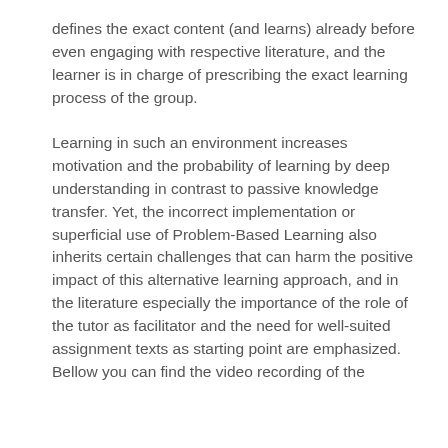defines the exact content (and learns) already before even engaging with respective literature, and the learner is in charge of prescribing the exact learning process of the group.
Learning in such an environment increases motivation and the probability of learning by deep understanding in contrast to passive knowledge transfer. Yet, the incorrect implementation or superficial use of Problem-Based Learning also inherits certain challenges that can harm the positive impact of this alternative learning approach, and in the literature especially the importance of the role of the tutor as facilitator and the need for well-suited assignment texts as starting point are emphasized. Bellow you can find the video recording of the